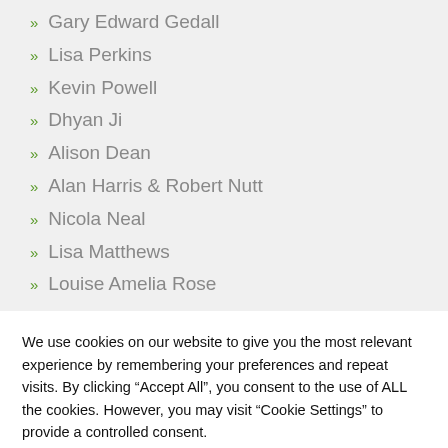Gary Edward Gedall
Lisa Perkins
Kevin Powell
Dhyan Ji
Alison Dean
Alan Harris & Robert Nutt
Nicola Neal
Lisa Matthews
Louise Amelia Rose
We use cookies on our website to give you the most relevant experience by remembering your preferences and repeat visits. By clicking “Accept All”, you consent to the use of ALL the cookies. However, you may visit “Cookie Settings” to provide a controlled consent.